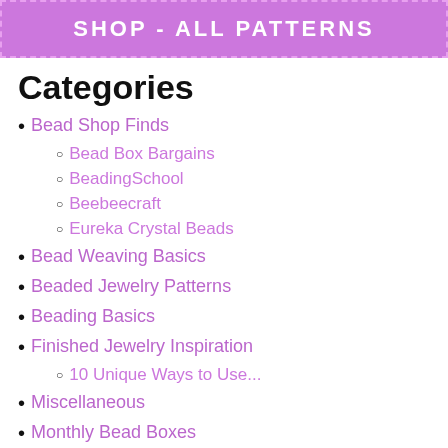SHOP - ALL PATTERNS
Categories
Bead Shop Finds
Bead Box Bargains
BeadingSchool
Beebeecraft
Eureka Crystal Beads
Bead Weaving Basics
Beaded Jewelry Patterns
Beading Basics
Finished Jewelry Inspiration
10 Unique Ways to Use...
Miscellaneous
Monthly Bead Boxes
Bargain Bead Box
BeadCrate Subscription Box
BeadingSchool Academy
Beads of the Month Clubs